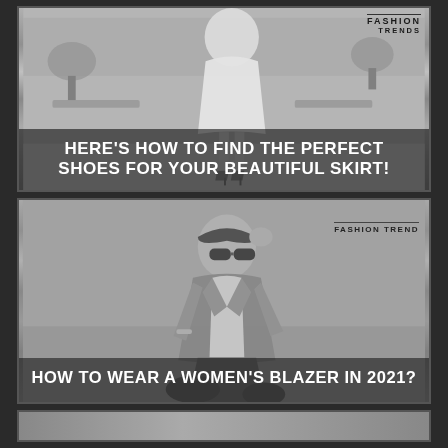[Figure (photo): Black and white photo of a woman wearing a skirt and high heels, with FASHION TRENDS badge in top right corner and headline text overlay at bottom]
HERE'S HOW TO FIND THE PERFECT SHOES FOR YOUR BEAUTIFUL SKIRT!
[Figure (photo): Black and white photo of a woman wearing a blazer and sunglasses, with FASHION TREND badge in top right corner and headline text overlay at bottom]
HOW TO WEAR A WOMEN'S BLAZER IN 2021?
[Figure (photo): Partial black and white photo at the bottom, cropped, with MODA badge visible]